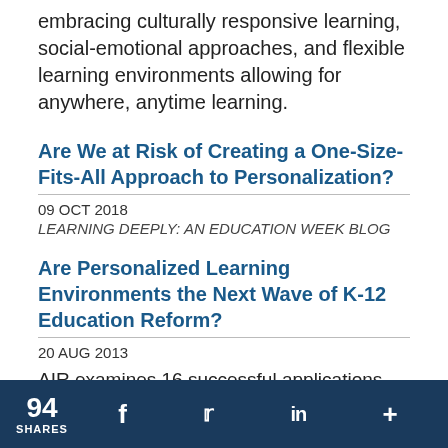embracing culturally responsive learning, social-emotional approaches, and flexible learning environments allowing for anywhere, anytime learning.
Are We at Risk of Creating a One-Size-Fits-All Approach to Personalization?
09 OCT 2018
LEARNING DEEPLY: AN EDUCATION WEEK BLOG
Are Personalized Learning Environments the Next Wave of K-12 Education Reform?
20 AUG 2013
AIR examines 16 successful applications from the Race to the Top District awards. Four trends mark grantees' efforts to implement teaching and learning innovations, including
94 SHARES  f  Twitter  in  +